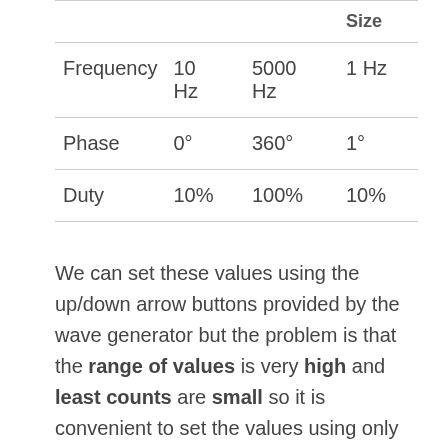|  | Min | Max | Size |
| --- | --- | --- | --- |
| Frequency | 10 Hz | 5000 Hz | 1 Hz |
| Phase | 0° | 360° | 1° |
| Duty | 10% | 100% | 10% |
We can set these values using the up/down arrow buttons provided by the wave generator but the problem is that the range of values is very high and least counts are small so it is convenient to set the values using only the up and down arrow buttons.